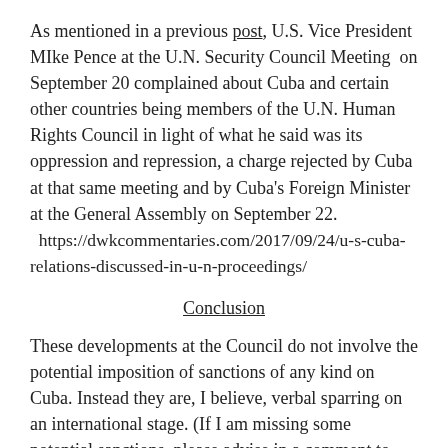As mentioned in a previous post, U.S. Vice President MIke Pence at the U.N. Security Council Meeting on September 20 complained about Cuba and certain other countries being members of the U.N. Human Rights Council in light of what he said was its oppression and repression, a charge rejected by Cuba at that same meeting and by Cuba's Foreign Minister at the General Assembly on September 22.
  https://dwkcommentaries.com/2017/09/24/u-s-cuba-relations-discussed-in-u-n-proceedings/
Conclusion
These developments at the Council do not involve the potential imposition of sanctions of any kind on Cuba. Instead they are, I believe, verbal sparring on an international stage. (If I am missing some potential sanctions, please advise in a comment to this post.)